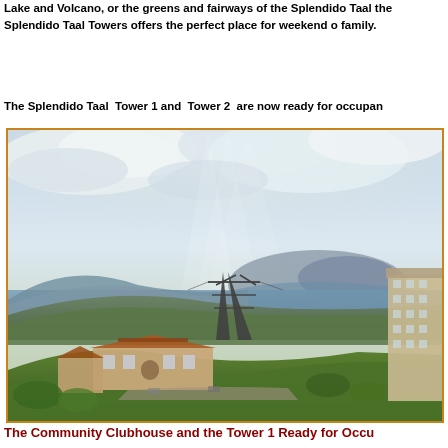Lake and Volcano, or the greens and fairways of the Splendido Taal the Splendido Taal Towers offers the perfect place for weekend o family.
The Splendido Taal  Tower 1 and  Tower 2  are now ready for occupan
[Figure (photo): Aerial/elevated view of Splendido Taal development showing the Community Clubhouse with terracotta roof buildings in foreground, a tall residential tower on the right, a power transmission tower in the middle, and Taal Lake with the Taal Volcano island in the background under dramatic cloudy skies.]
The Community Clubhouse and the Tower 1 Ready for Occu